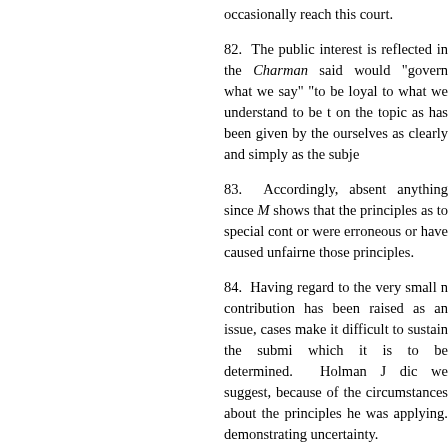occasionally reach this court.
82. The public interest is reflected in the Charman said would "govern what we say" "to be loyal to what we understand to be the on the topic as has been given by the ourselves as clearly and simply as the subje
83. Accordingly, absent anything since M shows that the principles as to special cont or were erroneous or have caused unfairne those principles.
84. Having regard to the very small n contribution has been raised as an issue, cases make it difficult to sustain the submi which it is to be determined. Holman J dic we suggest, because of the circumstances about the principles he was applying. demonstrating uncertainty.
85. Subject to argument on the prese Convention and on developments in the co has in fact occurred in the years since principles in those cases were erroneous or
86. Another way of looking at the matter, been demonstrated such a change in perce